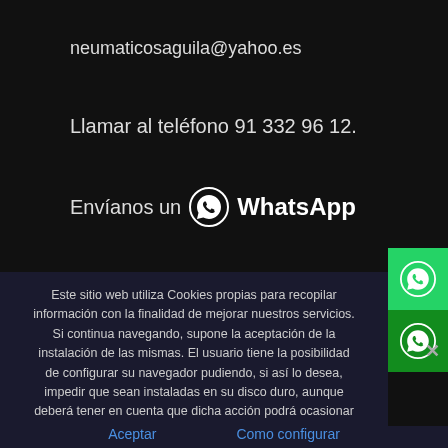neumaticosaguila@yahoo.es
Llamar al teléfono 91 332 96 12.
Envíanos un WhatsApp
[Figure (other): Green WhatsApp button on right side (top)]
[Figure (other): Dark green WhatsApp button on right side (bottom)]
Este sitio web utiliza Cookies propias para recopilar información con la finalidad de mejorar nuestros servicios. Si continua navegando, supone la aceptación de la instalación de las mismas. El usuario tiene la posibilidad de configurar su navegador pudiendo, si así lo desea, impedir que sean instaladas en su disco duro, aunque deberá tener en cuenta que dicha acción podrá ocasionar dificultades de navegación de la página web.
Aceptar
Como configurar